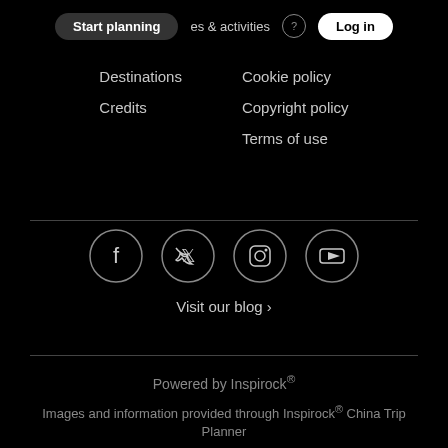Start planning | experiences & activities | Log in
Destinations
Credits
Cookie policy
Copyright policy
Terms of use
[Figure (illustration): Social media icons in circles: Facebook, Twitter, Instagram, YouTube]
Visit our blog ›
Powered by Inspirock®
Images and information provided through Inspirock® China Trip Planner
powered by Google